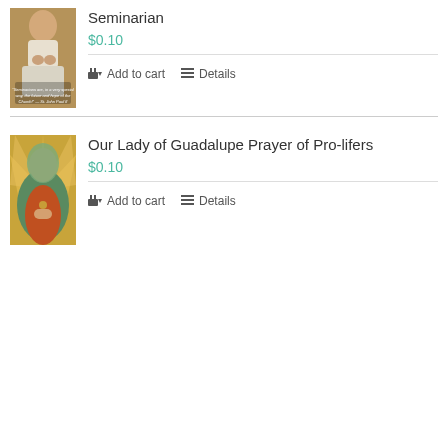[Figure (photo): Image of a praying elderly man (Pope John Paul II) with text quote about seminarians]
Seminarian
$0.10
Add to cart   Details
[Figure (photo): Image of Our Lady of Guadalupe]
Our Lady of Guadalupe Prayer of Pro-lifers
$0.10
Add to cart   Details